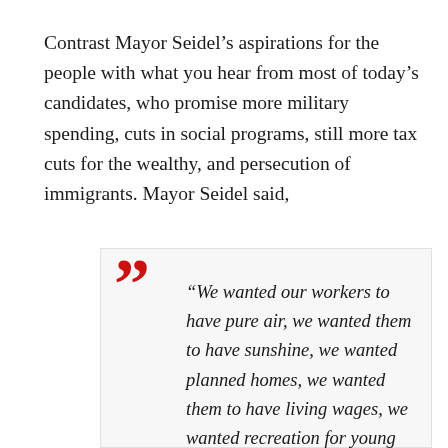Contrast Mayor Seidel’s aspirations for the people with what you hear from most of today’s candidates, who promise more military spending, cuts in social programs, still more tax cuts for the wealthy, and persecution of immigrants. Mayor Seidel said,
“We wanted our workers to have pure air, we wanted them to have sunshine, we wanted planned homes, we wanted them to have living wages, we wanted recreation for young and old, we wanted vocational education, we wanted a chance for every human being to be strong and live a life of